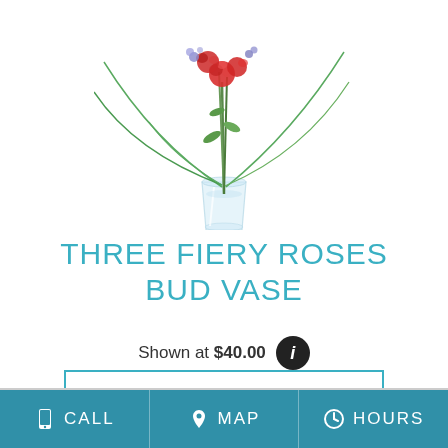[Figure (photo): A tall clear glass bud vase holding three roses with greenery and grass-like foliage extending outward, photographed on a white background.]
THREE FIERY ROSES BUD VASE
Shown at $40.00
BUY NOW
CALL  MAP  HOURS